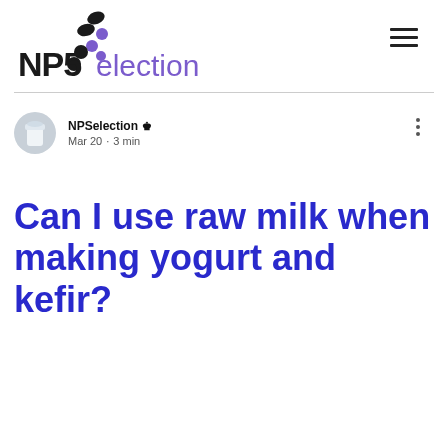[Figure (logo): NPSelection logo with stylized dots and letters NPS in black and purple, followed by 'election' in purple text]
NPSelection Admin
Mar 20 · 3 min
Can I use raw milk when making yogurt and kefir?